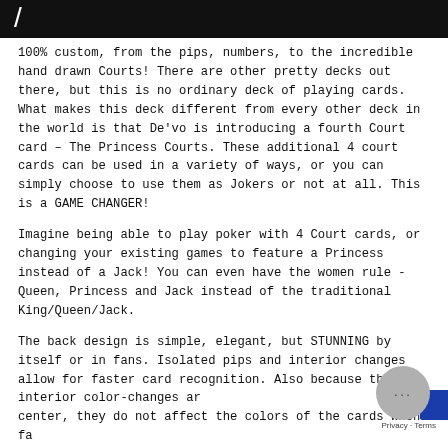/
100% custom, from the pips, numbers, to the incredible hand drawn Courts! There are other pretty decks out there, but this is no ordinary deck of playing cards. What makes this deck different from every other deck in the world is that De'vo is introducing a fourth Court card – The Princess Courts. These additional 4 court cards can be used in a variety of ways, or you can simply choose to use them as Jokers or not at all. This is a GAME CHANGER!
Imagine being able to play poker with 4 Court cards, or changing your existing games to feature a Princess instead of a Jack! You can even have the women rule - Queen, Princess and Jack instead of the traditional King/Queen/Jack.
The back design is simple, elegant, but STUNNING by itself or in fans. Isolated pips and interior changes allow for faster card recognition. Also because the interior color-changes are center, they do not affect the colors of the cards when fa... This deck is perfect for card collectors, Poker players, ma... and magical entertainers, to name a like...